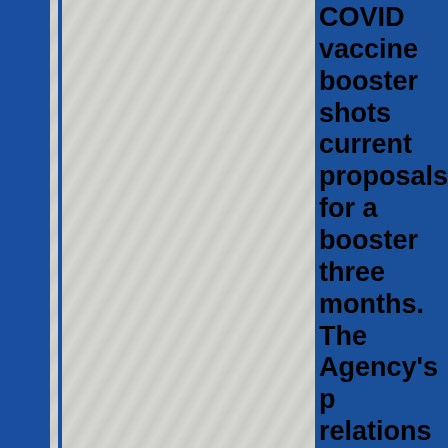COVID vaccine booster shots current proposals for a booster three months. The Agency's public relations team warned that frequent use of coronavirus boosters could have unintended health consequences. Officials of the Agency sounded alarm on proposals to vaccinate with a booster shot every four, instead leaving the door open for an annual booster.
Continue reading >>>
Covid Vaccine Refusers 'Thrive on Attention' Says Prime Attention And Chief Clown Boris Johnson... isn't it that the one person ev...